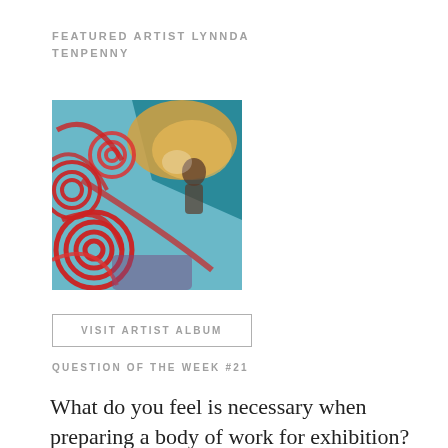FEATURED ARTIST LYNNDA TENPENNY
[Figure (illustration): Colorful abstract artwork featuring red spiral/circular shapes on a blue background with a silhouetted figure, mixed media painting by Lynnda Tenpenny]
VISIT ARTIST ALBUM
QUESTION OF THE WEEK #21
What do you feel is necessary when preparing a body of work for exhibition? What do